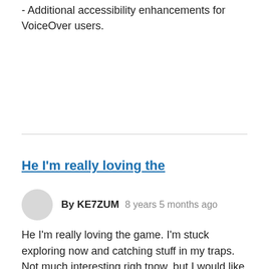- Additional accessibility enhancements for VoiceOver users.
He I'm really loving the
By KE7ZUM   8 years 5 months ago
He I'm really loving the game. I'm stuck exploring now and catching stuff in my traps. Not much interesting righ tnow, but I would like to make one suggestion
When in a battle on the dusty path, I think it's a bit redundant to say repeat then your damage.